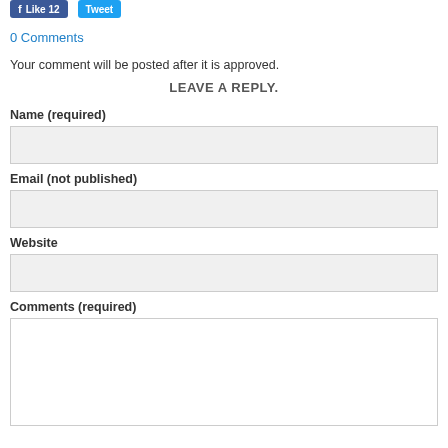[Figure (screenshot): Social media buttons: Facebook Like 12 and Twitter Tweet]
0 Comments
Your comment will be posted after it is approved.
LEAVE A REPLY.
Name (required)
Email (not published)
Website
Comments (required)